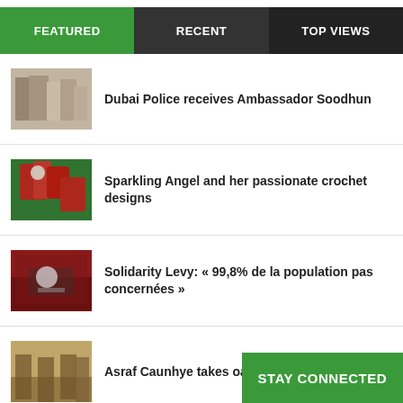FEATURED | RECENT | TOP VIEWS
Dubai Police receives Ambassador Soodhun
Sparkling Angel and her passionate crochet designs
Solidarity Levy: « 99,8% de la population pas concernées »
Asraf Caunhye takes oath as new Chief Justice
Aucun problème avec les dattes saoudiennes
STAY CONNECTED